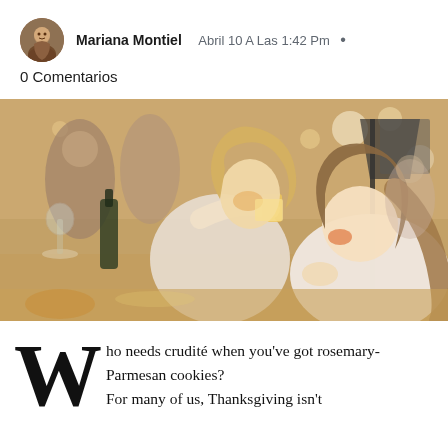Mariana Montiel   Abril 10 A Las 1:42 Pm •
0 Comentarios
[Figure (photo): Two young women eating and drinking at a busy restaurant table, wine glasses and bottles visible, other diners in background.]
Who needs crudité when you've got rosemary-Parmesan cookies? For many of us, Thanksgiving isn't